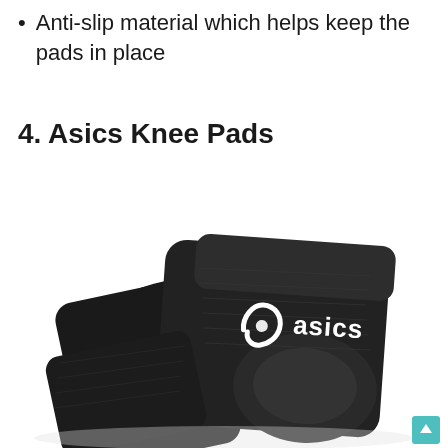Anti-slip material which helps keep the pads in place
4. Asics Knee Pads
[Figure (photo): Black Asics knee pads shown from above, featuring the Asics logo in white on the front pad, with textured fabric and padded protection zones visible.]